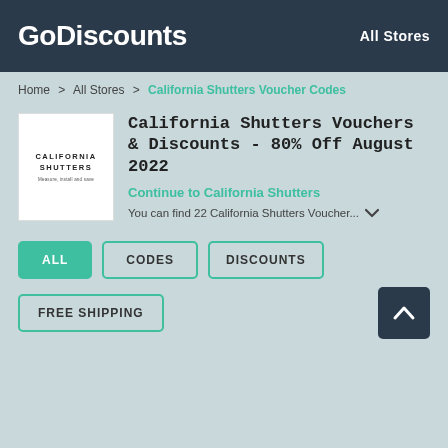GoDiscounts | All Stores
Home > All Stores > California Shutters Voucher Codes
[Figure (logo): California Shutters store logo – white box with text CALIFORNIA SHUTTERS Measure, install and save]
California Shutters Vouchers & Discounts - 80% Off August 2022
Continue to California Shutters
You can find 22 California Shutters Voucher...
ALL
CODES
DISCOUNTS
FREE SHIPPING